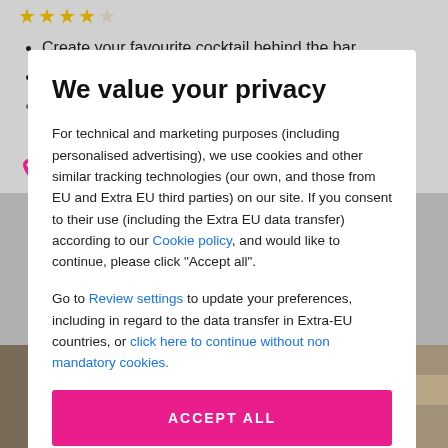Create your favourite cocktail behind the bar
Drinks and games throughout
Available Sunday to Friday throughout the year
[Figure (screenshot): Background page with distillery photo and cookie consent modal overlay]
We value your privacy
For technical and marketing purposes (including personalised advertising), we use cookies and other similar tracking technologies (our own, and those from EU and Extra EU third parties) on our site. If you consent to their use (including the Extra EU data transfer) according to our Cookie policy, and would like to continue, please click "Accept all".
Go to Review settings to update your preferences, including in regard to the data transfer in Extra-EU countries, or click here to continue without non mandatory cookies.
ACCEPT ALL